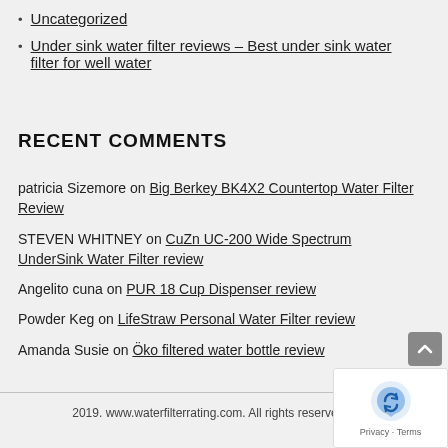Uncategorized
Under sink water filter reviews – Best under sink water filter for well water
RECENT COMMENTS
patricia Sizemore on Big Berkey BK4X2 Countertop Water Filter Review
STEVEN WHITNEY on CuZn UC-200 Wide Spectrum UnderSink Water Filter review
Angelito cuna on PUR 18 Cup Dispenser review
Powder Keg on LifeStraw Personal Water Filter review
Amanda Susie on Öko filtered water bottle review
2019. www.waterfilterrating.com. All rights reserved.